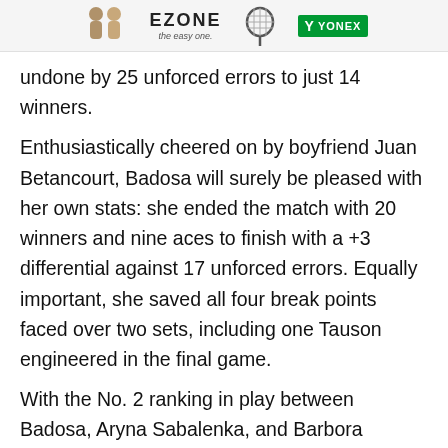[Figure (other): Ezone tennis brand advertisement banner with player figures, racket graphic, and Yonex logo]
undone by 25 unforced errors to just 14 winners.
Enthusiastically cheered on by boyfriend Juan Betancourt, Badosa will surely be pleased with her own stats: she ended the match with 20 winners and nine aces to finish with a +3 differential against 17 unforced errors. Equally important, she saved all four break points faced over two sets, including one Tauson engineered in the final game.
With the No. 2 ranking in play between Badosa, Aryna Sabalenka, and Barbora Krejcikova, she couldn't have asked for a better start as she now awaits No. 14 seed Coco Gauff after the American ousted Caroline Garcia, 6-2, 7-6 (3). Gauff and